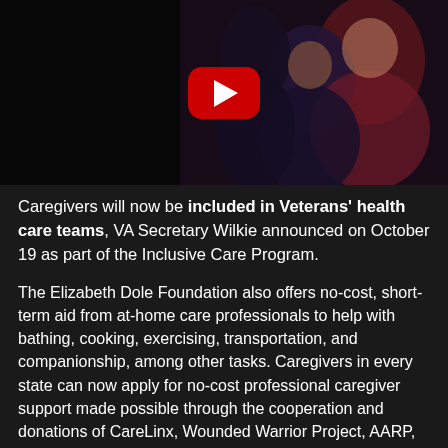[Figure (screenshot): YouTube video thumbnail showing two women at an event, with a red YouTube play button overlay in the center]
Caregivers will now be included in Veterans' health care teams, VA Secretary Wilkie announced on October 19 as part of the Inclusive Care Program.
The Elizabeth Dole Foundation also offers no-cost, short-term aid from at-home care professionals to help with bathing, cooking, exercising, transportation, and companionship, among other tasks. Caregivers in every state can now apply for no-cost professional caregiver support made possible through the cooperation and donations of CareLinx, Wounded Warrior Project, AARP, and VA.
https://www.blogs.va.gov/VAntage/80154/inclusive-care-